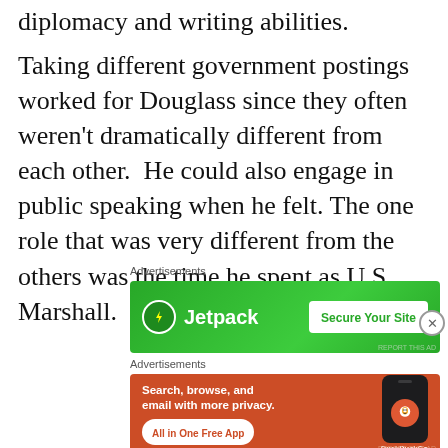diplomacy and writing abilities.
Taking different government postings worked for Douglass since they often weren't dramatically different from each other.  He could also engage in public speaking when he felt. The one role that was very different from the others was the time he spent as U.S. Marshall.
[Figure (other): Jetpack advertisement banner with green background showing Jetpack logo and 'Secure Your Site' button]
[Figure (other): DuckDuckGo advertisement banner with orange background showing 'Search, browse, and email with more privacy. All in One Free App' text and phone graphic]